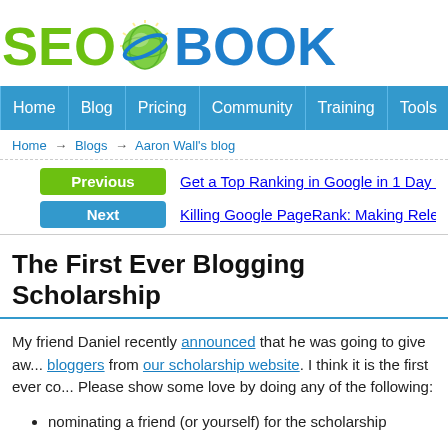[Figure (logo): SEOBook logo with green SEO text, globe icon, and blue BOOK text]
Home | Blog | Pricing | Community | Training | Tools
Home → Blogs → Aaron Wall's blog
Previous  Get a Top Ranking in Google in 1 Day for Free
Next  Killing Google PageRank: Making Relevancy Irrelev...
The First Ever Blogging Scholarship
My friend Daniel recently announced that he was going to give away bloggers from our scholarship website. I think it is the first ever co... Please show some love by doing any of the following:
nominating a friend (or yourself) for the scholarship